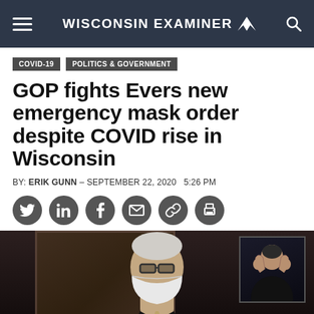WISCONSIN EXAMINER
COVID-19   POLITICS & GOVERNMENT
GOP fights Evers new emergency mask order despite COVID rise in Wisconsin
BY: ERIK GUNN – SEPTEMBER 22, 2020   5:26 PM
[Figure (other): Social sharing icons: Twitter, LinkedIn, Facebook, Email, Link, Print]
[Figure (photo): Governor Tony Evers wearing a white face mask, seated with ornate wooden background, with a sign language interpreter visible in an inset box in the upper right]